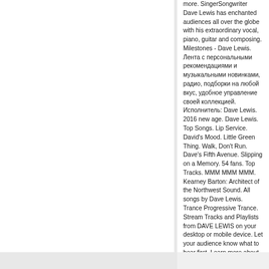more. SingerSongwriter Dave Lewis has enchanted audiences all over the globe with his extraordinary vocal, piano, guitar and composing. Milestones - Dave Lewis. Лента с персональными рекомендациями и музыкальными новинками, радио, подборки на любой вкус, удобное управление своей коллекцией. Исполнитель: Dave Lewis. 2016 new age. Dave Lewis. Top Songs. Lip Service. David's Mood. Little Green Thing. Walk, Don't Run. Dave's Fifth Avenue. Slipping on a Memory. 54 fans. Top Tracks. MMM MMM MMM. Kearney Barton: Architect of the Northwest Sound. All songs by Dave Lewis. Trance Progressive Trance. Stream Tracks and Playlists from DAVE LEWIS on your desktop or mobile device. Let your audience know what to hear first. Learn more about Pro. DAVE LEWISPro Unlimited. BERLIN, Germany